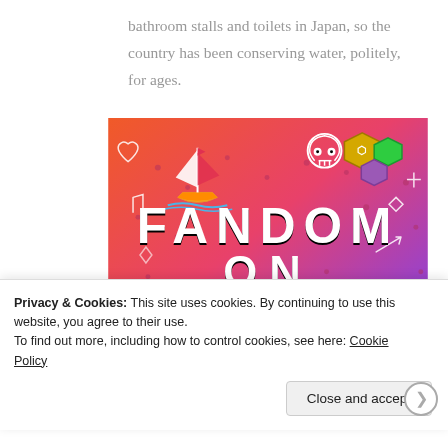bathroom stalls and toilets in Japan, so the country has been conserving water, politely, for ages.
[Figure (illustration): Colorful gradient banner image with orange-to-purple gradient background covered in white doodle icons (sailboat, skull, dice, octopus, music notes, arrows, hearts). Text reads 'FANDOM ON tumblr' in bold black and white letters.]
Privacy & Cookies: This site uses cookies. By continuing to use this website, you agree to their use.
To find out more, including how to control cookies, see here: Cookie Policy
Close and accept